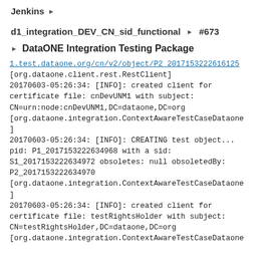Jenkins ▶
d1_integration_DEV_CN_sid_functional ▶ #673
▶ DataONE Integration Testing Package
1.test.dataone.org/cn/v2/object/P2_2017153222616125
[org.dataone.client.rest.RestClient]
20170603-05:26:34: [INFO]: created client for certificate file: cnDevUNM1 with subject: CN=urn:node:cnDevUNM1,DC=dataone,DC=org
[org.dataone.integration.ContextAwareTestCaseDataone
]
20170603-05:26:34: [INFO]: CREATING test object... pid: P1_2017153222634968 with a sid: S1_2017153222634972 obsoletes: null obsoletedBy: P2_2017153222634970
[org.dataone.integration.ContextAwareTestCaseDataone
]
20170603-05:26:34: [INFO]: created client for certificate file: testRightsHolder with subject: CN=testRightsHolder,DC=dataone,DC=org
[org.dataone.integration.ContextAwareTestCaseDataone